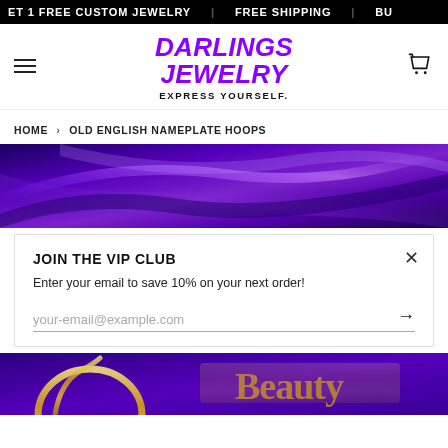ET 1 FREE CUSTOM JEWELRY | FREE SHIPPING | BU
[Figure (logo): Darlings Jewelry logo with purple italic bold text and tagline EXPRESS YOURSELF.]
HOME › OLD ENGLISH NAMEPLATE HOOPS
[Figure (photo): Close-up of purple satin fabric with diagonal folds and light reflections]
JOIN THE VIP CLUB
Enter your email to save 10% on your next order!
your-email@example.com
[Figure (photo): Partial product image showing gold nameplate hoop earring on purple background]